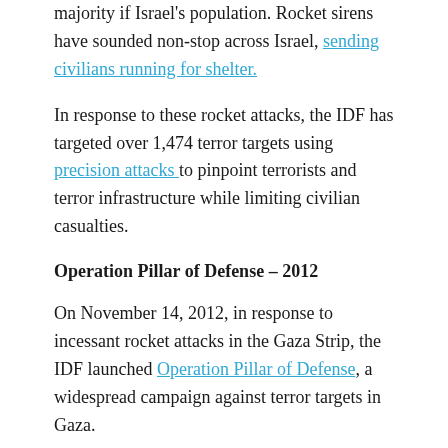majority if Israel's population. Rocket sirens have sounded non-stop across Israel, sending civilians running for shelter.
In response to these rocket attacks, the IDF has targeted over 1,474 terror targets using precision attacks to pinpoint terrorists and terror infrastructure while limiting civilian casualties.
Operation Pillar of Defense – 2012
On November 14, 2012, in response to incessant rocket attacks in the Gaza Strip, the IDF launched Operation Pillar of Defense, a widespread campaign against terror targets in Gaza.
During the eight days of the operation — and in the weeks leading up to it — life was unbearable for more than a 5...